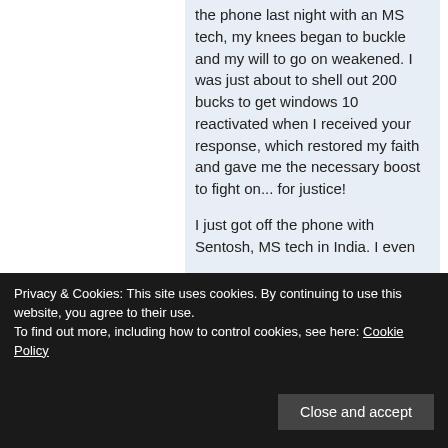the phone last night with an MS tech, my knees began to buckle and my will to go on weakened. I was just about to shell out 200 bucks to get windows 10 reactivated when I received your response, which restored my faith and gave me the necessary boost to fight on... for justice!
I just got off the phone with Sentosh, MS tech in India. I even
Privacy & Cookies: This site uses cookies. By continuing to use this website, you agree to their use.
To find out more, including how to control cookies, see here: Cookie Policy
Close and accept
purchased a new mobo and voila.